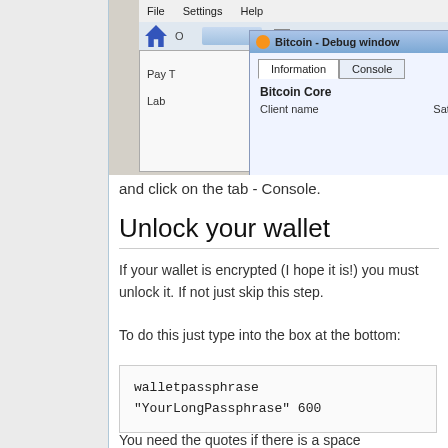[Figure (screenshot): Bitcoin Debug window screenshot showing Information and Console tabs, with Bitcoin Core client info and a Payment interface behind it]
and click on the tab - Console.
Unlock your wallet
If your wallet is encrypted (I hope it is!) you must unlock it. If not just skip this step.
To do this just type into the box at the bottom:
walletpassphrase "YourLongPassphrase" 600
You need the quotes if there is a space